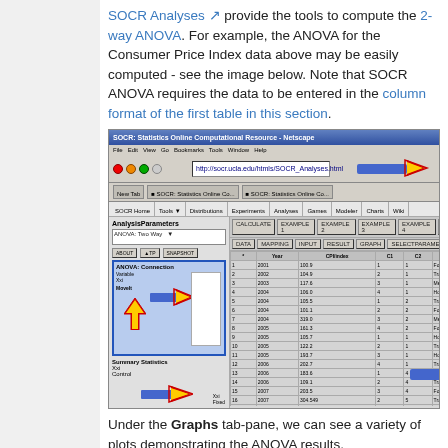SOCR Analyses provide the tools to compute the 2-way ANOVA. For example, the ANOVA for the Consumer Price Index data above may be easily computed - see the image below. Note that SOCR ANOVA requires the data to be entered in the column format of the first table in this section.
[Figure (screenshot): Screenshot of SOCR Statistics Online Computational Resource website in Netscape browser, showing the ANOVA Two-Way analysis tool with red arrows pointing to key interface elements including the URL bar, input panel, and data table.]
Under the Graphs tab-pane, we can see a variety of plots demonstrating the ANOVA results.